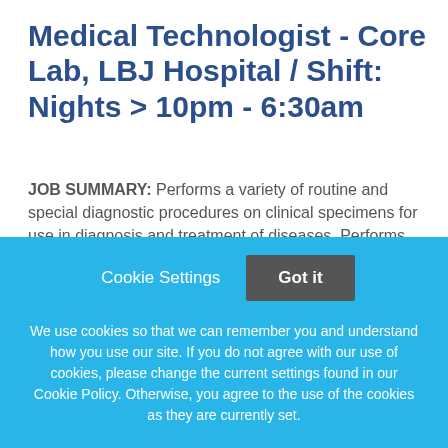Medical Technologist - Core Lab, LBJ Hospital / Shift: Nights > 10pm - 6:30am
JOB SUMMARY: Performs a variety of routine and special diagnostic procedures on clinical specimens for use in diagnosis and treatment of diseases. Performs high complexity testing according to established procedures.
This job listing is no longer active.
Cookie Settings  Got it

We use cookies so that we can remember you and understand how you use our site. If you do not agree with our use of cookies, please change the current settings found in our Cookie Policy. Otherwise, you agree to the use of the cookies as they are currently set.